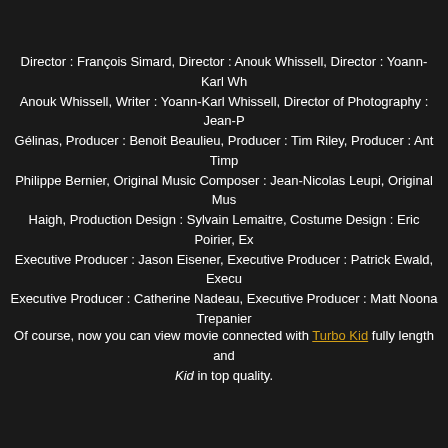Director : François Simard, Director : Anouk Whissell, Director : Yoann-Karl Wh... Anouk Whissell, Writer : Yoann-Karl Whissell, Director of Photography : Jean-P... Gélinas, Producer : Benoit Beaulieu, Producer : Tim Riley, Producer : Ant Timp... Philippe Bernier, Original Music Composer : Jean-Nicolas Leupi, Original Mus... Haigh, Production Design : Sylvain Lemaitre, Costume Design : Eric Poirier, Ex... Executive Producer : Jason Eisener, Executive Producer : Patrick Ewald, Execu... Executive Producer : Catherine Nadeau, Executive Producer : Matt Noona... Trepanier
Of course, now you can view movie connected with Turbo Kid fully length and... Kid in top quality.
Tags: gore, bmx, violence, splatter, woman director, post-apocalyptic,
You've just seen the movie categories violence titled Turbo Kid (2015). You c... http://carolessoulfeltcreations.blogspot.com/2015/09/turbo-kid-2015.htm
Turbo Kid (2015) 910109.